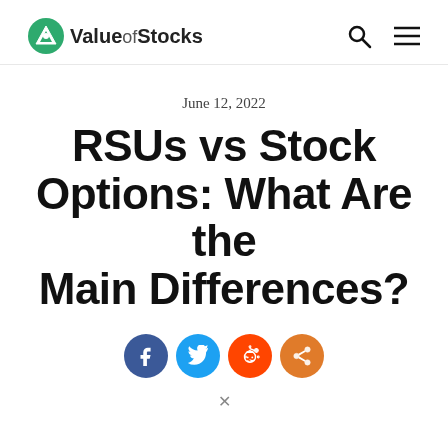Value of Stocks
June 12, 2022
RSUs vs Stock Options: What Are the Main Differences?
[Figure (other): Social sharing icons: Facebook, Twitter, Reddit, Share]